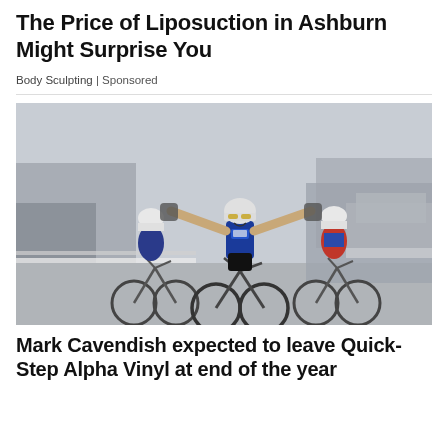The Price of Liposuction in Ashburn Might Surprise You
Body Sculpting | Sponsored
[Figure (photo): A cyclist in a Quick-Step Alpha Vinyl jersey celebrating a race win with arms raised wide, flanked by two other cyclists, on a city street with spectators in the background.]
Mark Cavendish expected to leave Quick-Step Alpha Vinyl at end of the year